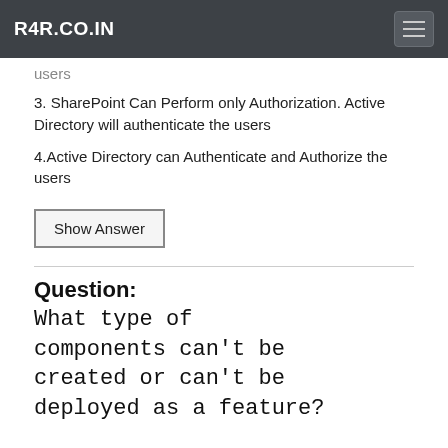R4R.CO.IN
users
3. SharePoint Can Perform only Authorization. Active Directory will authenticate the users
4.Active Directory can Authenticate and Authorize the users
Show Answer
Question:
What type of components can't be created or can't be deployed as a feature?